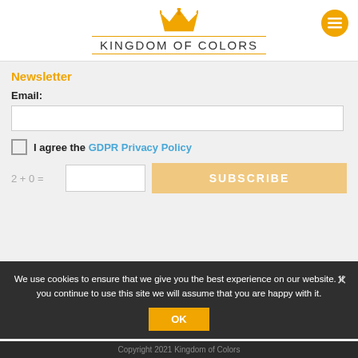[Figure (logo): Kingdom of Colors logo with golden crown icon above text 'KINGDOM of COLORS' with orange double underline borders]
Newsletter
Email:
I agree the GDPR Privacy Policy
2 + 0 =
SUBSCRIBE
We use cookies to ensure that we give you the best experience on our website. If you continue to use this site we will assume that you are happy with it.
OK
Copyright 2021 Kingdom of Colors